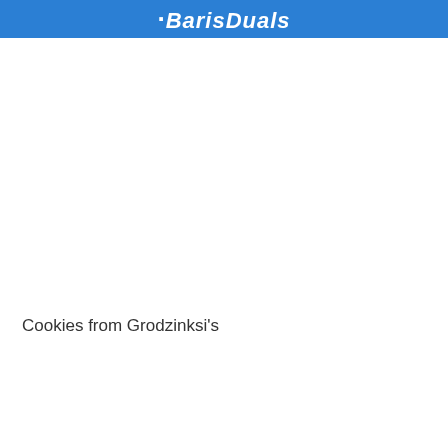BarisDuals
Cookies from Grodzinksi's